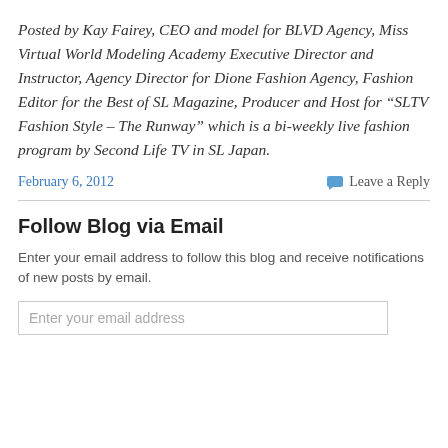Posted by Kay Fairey, CEO and model for BLVD Agency, Miss Virtual World Modeling Academy Executive Director and Instructor, Agency Director for Dione Fashion Agency, Fashion Editor for the Best of SL Magazine, Producer and Host for “SLTV Fashion Style – The Runway” which is a bi-weekly live fashion program by Second Life TV in SL Japan.
February 6, 2012
Leave a Reply
Follow Blog via Email
Enter your email address to follow this blog and receive notifications of new posts by email.
Enter your email address